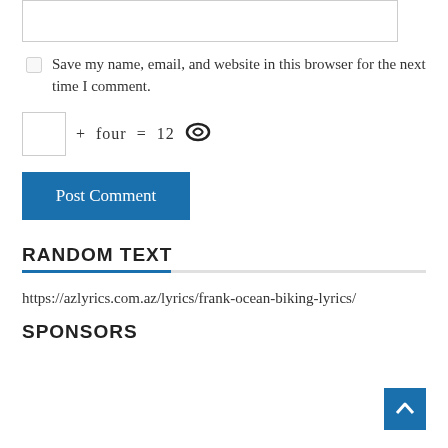Website input box (form field)
Save my name, email, and website in this browser for the next time I comment.
+ four = 12 [captcha refresh icon]
Post Comment
RANDOM TEXT
https://azlyrics.com.az/lyrics/frank-ocean-biking-lyrics/
SPONSORS